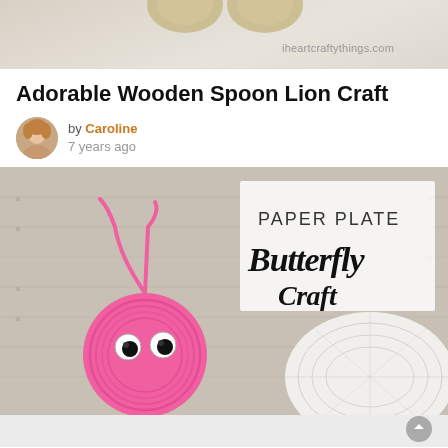[Figure (photo): Top portion of a craft image showing wooden spoon shapes on a light background with watermark text 'iheartcraftythings.com']
Adorable Wooden Spoon Lion Craft
by Caroline
7 years ago
[Figure (photo): Photo showing a paper plate butterfly craft — a pink paper plate with googly eyes and pink pipe cleaner antennae, placed in front of a wooden plank background with text 'PAPER PLATE Butterfly Craft' in black lettering. A white doily is partially visible on the right.]